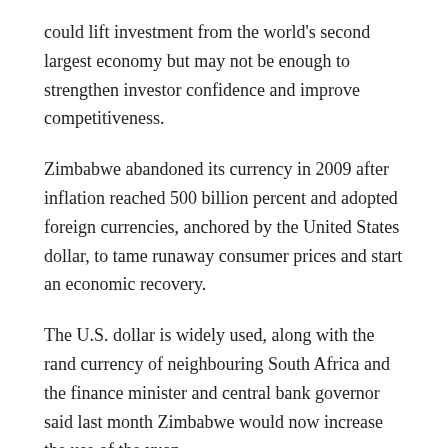could lift investment from the world's second largest economy but may not be enough to strengthen investor confidence and improve competitiveness.
Zimbabwe abandoned its currency in 2009 after inflation reached 500 billion percent and adopted foreign currencies, anchored by the United States dollar, to tame runaway consumer prices and start an economic recovery.
The U.S. dollar is widely used, along with the rand currency of neighbouring South Africa and the finance minister and central bank governor said last month Zimbabwe would now increase the use of the yuan.
“The renminbi’s use will likely facilitate greater levels of foreign direct investment from and bilateral trade with China by reducing transaction costs and exchange rate